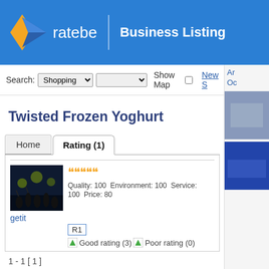ratebe | Business Listing
Search: Shopping | Show Map | New S
Twisted Frozen Yoghurt
Home | Rating (1)
[Figure (photo): Dark photo of a crowd at an event]
Quality: 100  Environment: 100  Service: 100  Price: 80
getit
R1
Good rating (3)  Poor rating (0)
1 - 1 [ 1 ]